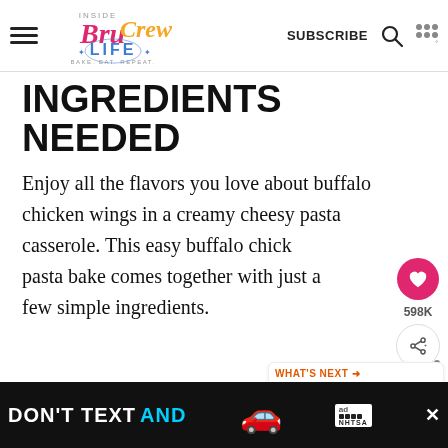Inside BruCrew Life — SUBSCRIBE
INGREDIENTS NEEDED
Enjoy all the flavors you love about buffalo chicken wings in a creamy cheesy pasta casserole. This easy buffalo chicken pasta bake comes together with just a few simple ingredients.
Chicken - You can use a rotisserie chicken, leftover cooked chicken, or canned
[Figure (screenshot): What's Next promotional widget showing Easy Buffalo Chicken Dip...]
[Figure (screenshot): Social sharing sidebar with heart button (598K) and share button]
[Figure (screenshot): Advertisement banner: DON'T TEXT AND [car emoji] — NHTSA ad]